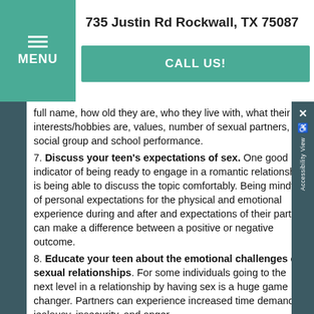735 Justin Rd Rockwall, TX 75087
CALL US!
full name, how old they are, who they live with, what their interests/hobbies are, values, number of sexual partners, social group and school performance.
7. Discuss your teen's expectations of sex. One good indicator of being ready to engage in a romantic relationship is being able to discuss the topic comfortably. Being mindful of personal expectations for the physical and emotional experience during and after and expectations of their partner can make a difference between a positive or negative outcome.
8. Educate your teen about the emotional challenges of sexual relationships. For some individuals going to the next level in a relationship by having sex is a huge game changer. Partners can experience increased time demands, jealousy, insecurity, and anger